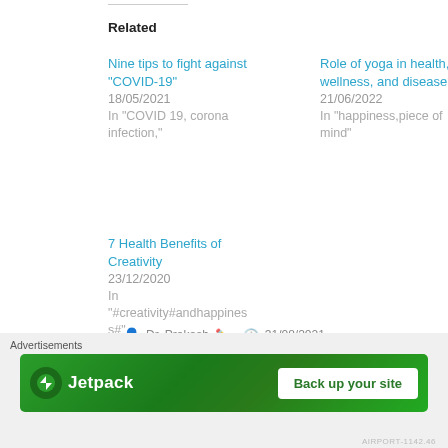Related
Nine tips to fight against "COVID-19"
18/05/2021
In "COVID 19, corona infection,"
Role of yoga in health, wellness, and disease.
21/06/2022
In "happiness,piece of mind"
7 Health Benefits of Creativity
23/12/2020
In "#creativity#andhappiness#"
Dr. Prakash ✏  31/08/2021
Advertisements
[Figure (infographic): Jetpack advertisement banner with green background, Jetpack logo on left and 'Back up your site' button on right]